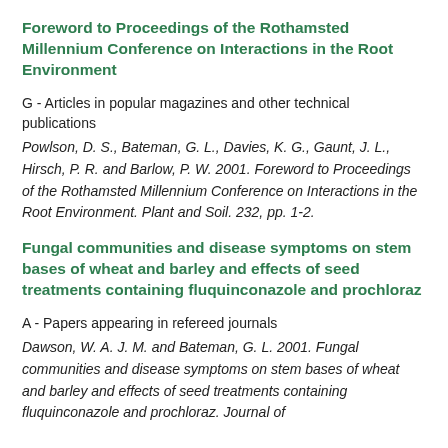Foreword to Proceedings of the Rothamsted Millennium Conference on Interactions in the Root Environment
G - Articles in popular magazines and other technical publications
Powlson, D. S., Bateman, G. L., Davies, K. G., Gaunt, J. L., Hirsch, P. R. and Barlow, P. W. 2001. Foreword to Proceedings of the Rothamsted Millennium Conference on Interactions in the Root Environment. Plant and Soil. 232, pp. 1-2.
Fungal communities and disease symptoms on stem bases of wheat and barley and effects of seed treatments containing fluquinconazole and prochloraz
A - Papers appearing in refereed journals
Dawson, W. A. J. M. and Bateman, G. L. 2001. Fungal communities and disease symptoms on stem bases of wheat and barley and effects of seed treatments containing fluquinconazole and prochloraz. Journal of